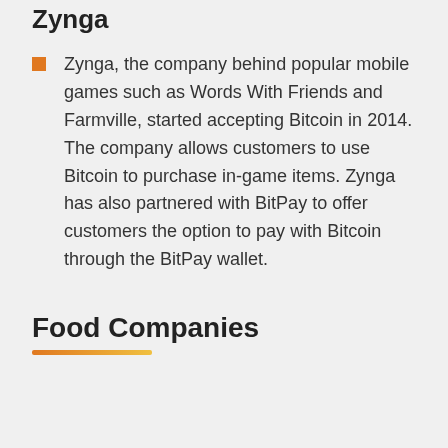Zynga
Zynga, the company behind popular mobile games such as Words With Friends and Farmville, started accepting Bitcoin in 2014. The company allows customers to use Bitcoin to purchase in-game items. Zynga has also partnered with BitPay to offer customers the option to pay with Bitcoin through the BitPay wallet.
Food Companies